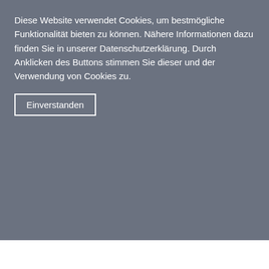Diese Website verwendet Cookies, um bestmögliche Funktionalität bieten zu können. Nähere Informationen dazu finden Sie in unserer Datenschutzerklärung. Durch Anklicken des Buttons stimmen Sie dieser und der Verwendung von Cookies zu.
Einverstanden
States
Guido Zavattini, University of Ferrara and INFN-Ferrara, Italy
Kai Zuber, TU Dresden, Germany
Kategorien  Physik, Elementarteilchenphysik
Kontakt
European Journal of Particle Physics (EJPP)